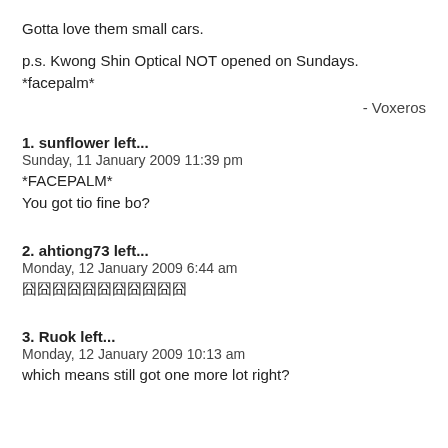Gotta love them small cars.
p.s. Kwong Shin Optical NOT opened on Sundays.
*facepalm*
- Voxeros
1. sunflower left...
Sunday, 11 January 2009 11:39 pm
*FACEPALM*
You got tio fine bo?
2. ahtiong73 left...
Monday, 12 January 2009 6:44 am
囧囧囧囧囧囧囧囧囧囧囧
3. Ruok left...
Monday, 12 January 2009 10:13 am
which means still got one more lot right?